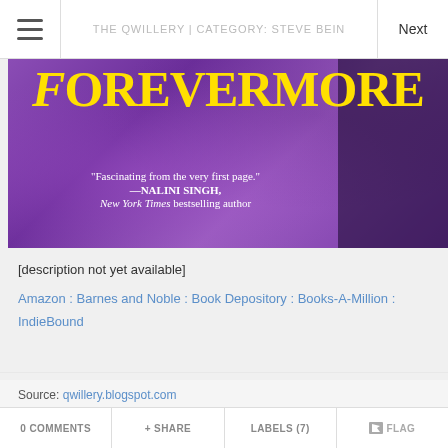THE QWILLERY | CATEGORY: STEVE BEIN
[Figure (photo): Book cover for 'Forevermore' showing yellow title text on a purple background with a quote: '"Fascinating from the very first page." —NALINI SINGH, New York Times bestselling author']
[description not yet available]
Amazon : Barnes and Noble : Book Depository : Books-A-Million : IndieBound
Source: qwillery.blogspot.com
0 COMMENTS + SHARE LABELS (7) FLAG